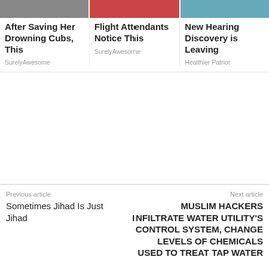[Figure (photo): Three thumbnail images of article previews in a horizontal row at the top]
After Saving Her Drowning Cubs, This
Flight Attendants Notice This
New Hearing Discovery is Leaving
SurelyAwesome
SurelyAwesome
Healthier Patriot
Previous article
Next article
Sometimes Jihad Is Just Jihad
MUSLIM HACKERS INFILTRATE WATER UTILITY'S CONTROL SYSTEM, CHANGE LEVELS OF CHEMICALS USED TO TREAT TAP WATER